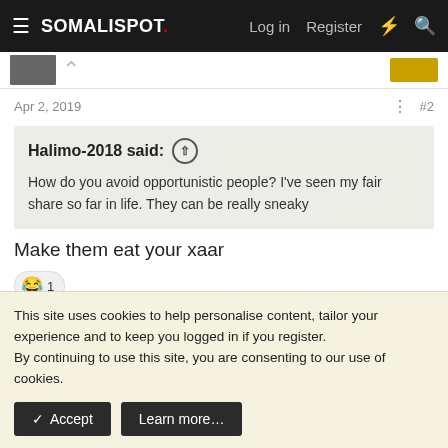SOMALISPOT. Log in Register
Apr 2, 2019  #2
Halimo-2018 said: ↑
How do you avoid opportunistic people? I've seen my fair share so far in life. They can be really sneaky
Make them eat your xaar
😂 1
This site uses cookies to help personalise content, tailor your experience and to keep you logged in if you register.
By continuing to use this site, you are consenting to our use of cookies.
✓ Accept   Learn more…